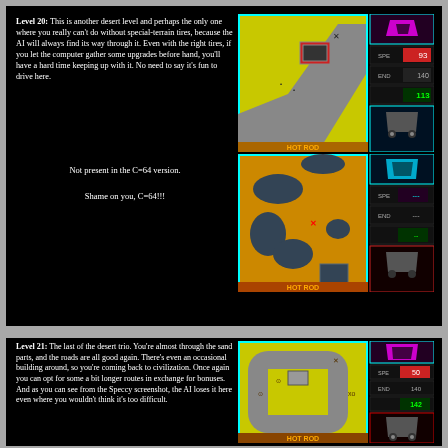Level 20: This is another desert level and perhaps the only one where you really can't do without special-terrain tires, because the AI will always find its way through it. Even with the right tires, if you let the computer gather some upgrades before hand, you'll have a hard time keeping up with it. No need to say it's fun to drive here.
[Figure (screenshot): Level 20 game screenshot showing desert level map with yellow sand terrain, grey road, red building, and HUD panel on right showing stats and HOT ROD label]
Not present in the C=64 version.

Shame on you, C=64!!!
[Figure (screenshot): Level 21 game screenshot showing desert level map with orange sand and dark rock patches, HUD panel on right, HOT ROD label at bottom]
Level 21: The last of the desert trio. You're almost through the sand parts, and the roads are all good again. There's even an occasional building around, so you're coming back to civilization. Once again you can opt for some a bit longer routes in exchange for bonuses. And as you can see from the Speccy screenshot, the AI loses it here even where you wouldn't think it's too difficult.
[Figure (screenshot): Level 21 game screenshot showing map with grey roads, yellow sand areas, buildings, HUD on right with numbers 50, 142 and HOT ROD label]